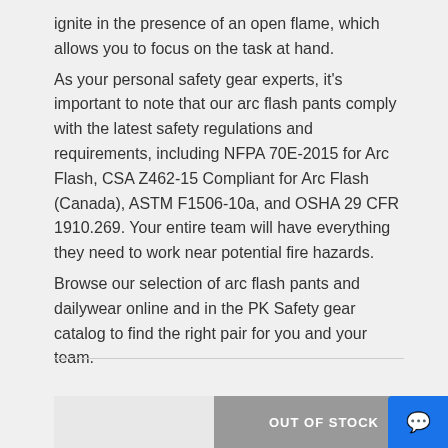ignite in the presence of an open flame, which allows you to focus on the task at hand.
As your personal safety gear experts, it's important to note that our arc flash pants comply with the latest safety regulations and requirements, including NFPA 70E-2015 for Arc Flash, CSA Z462-15 Compliant for Arc Flash (Canada), ASTM F1506-10a, and OSHA 29 CFR 1910.269. Your entire team will have everything they need to work near potential fire hazards.
Browse our selection of arc flash pants and dailywear online and in the PK Safety gear catalog to find the right pair for you and your team.
[Figure (screenshot): Sort By dropdown selector showing 'Select Option' with a chevron arrow, and an 'OUT OF STOCK' gray button with a blue chat button in the bottom right corner.]